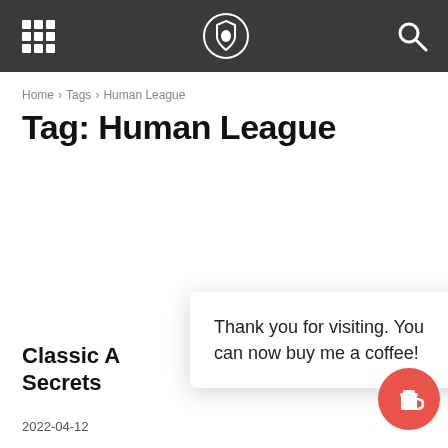Navigation header with grid icon, shield logo, and search icon
Home › Tags › Human League
Tag: Human League
Thank you for visiting. You can now buy me a coffee!
Classic A… Secrets
2022-04-12